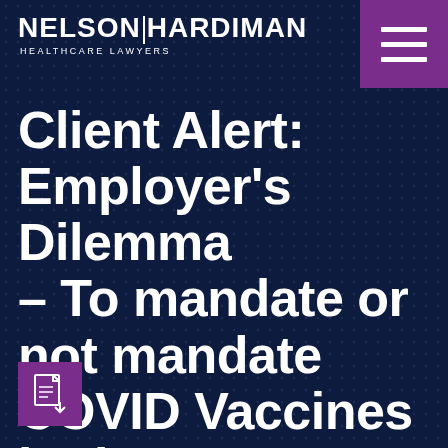NELSON HARDIMAN HEALTHCARE LAWYERS
Client Alert: Employer's Dilemma – To mandate or not mandate COVID Vaccines in the workplace?
[Figure (logo): PDF document icon in purple square at bottom left]